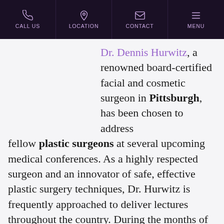CALL US | LOCATION | CONTACT | MENU
Dr. Dennis Hurwitz, a renowned board-certified facial and cosmetic surgeon in Pittsburgh, has been chosen to address fellow plastic surgeons at several upcoming medical conferences. As a highly respected surgeon and an innovator of safe, effective plastic surgery techniques, Dr. Hurwitz is frequently approached to deliver lectures throughout the country. During the months of November and December, the surgeon will be the keynote speaker at the Canadian Association of Aesthetic Medicine 9th Annual Conference in Toronto, Canada; the Body Conference and Exhibition for The Royal Society of